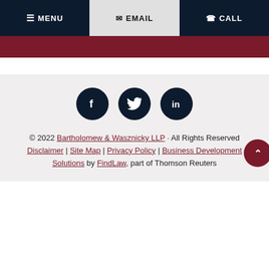MENU | EMAIL | CALL
[Figure (other): Dark red banner strip below navigation bar]
[Figure (other): Three social media icon circles: Facebook (f), Twitter (bird), LinkedIn (in) on light grey background]
© 2022 Bartholomew & Wasznicky LLP · All Rights Reserved
Disclaimer | Site Map | Privacy Policy | Business Development Solutions by FindLaw, part of Thomson Reuters